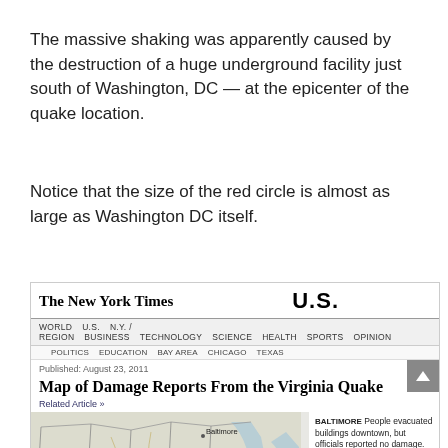The massive shaking was apparently caused by the destruction of a huge underground facility just south of Washington, DC — at the epicenter of the quake location.
Notice that the size of the red circle is almost as large as Washington DC itself.
[Figure (screenshot): Screenshot of a New York Times article page titled 'Map of Damage Reports From the Virginia Quake', published August 23, 2011. Shows NYT masthead, navigation bar, article title, 'Related Article »' link, a partial map of the Mid-Atlantic region including West Virginia and Baltimore, and a sidebar with damage report blurbs for BALTIMORE and WASHINGTON.]